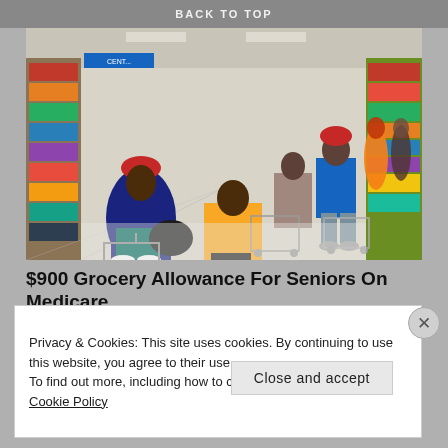BACK TO TOP
[Figure (photo): People shopping in a large retail store (Walmart-style), pushing carts down a wide aisle lined with shelving and merchandise. Several shoppers are visible wearing colorful coats and hats.]
$900 Grocery Allowance For Seniors On Medicare
bestmedicareplans.com
Privacy & Cookies: This site uses cookies. By continuing to use this website, you agree to their use.
To find out more, including how to control cookies, see here: Cookie Policy
Close and accept